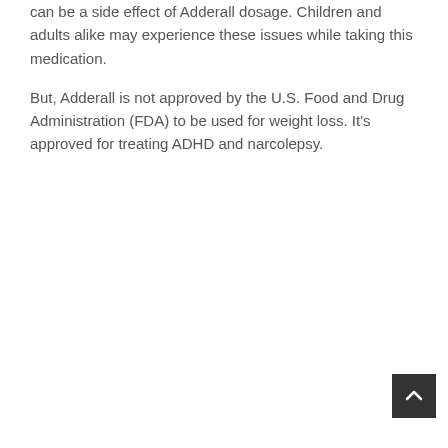can be a side effect of Adderall dosage. Children and adults alike may experience these issues while taking this medication.
But, Adderall is not approved by the U.S. Food and Drug Administration (FDA) to be used for weight loss. It's approved for treating ADHD and narcolepsy.